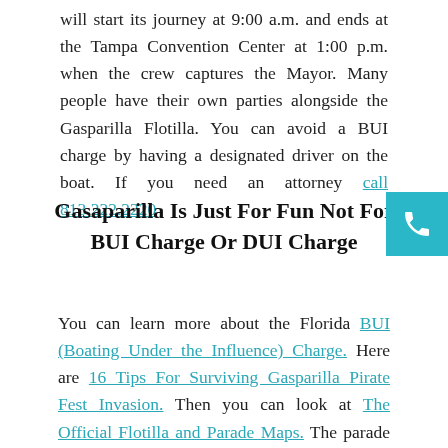will start its journey at 9:00 a.m. and ends at the Tampa Convention Center at 1:00 p.m. when the crew captures the Mayor. Many people have their own parties alongside the Gasparilla Flotilla. You can avoid a BUI charge by having a designated driver on the boat. If you need an attorney call 813.222.2220
Gasaparilla Is Just For Fun Not For BUI Charge Or DUI Charge
You can learn more about the Florida BUI (Boating Under the Influence) Charge. Here are 16 Tips For Surviving Gasparilla Pirate Fest Invasion. Then you can look at The Official Flotilla and Parade Maps. The parade begins Bayshore Boulevard at Bay to Bay Boulevard at 2:00 p.m. Then the parade ends on Ashley Drive when it reaches Cass Street around 5:30 p.m. You don't want to forget that the NHL All-Star Weekend is also this weekend in downtown Tampa. That will add to the